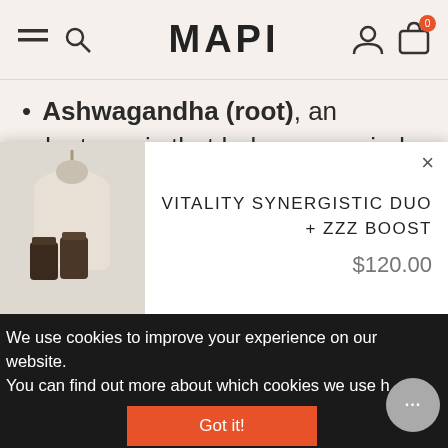MAPI
Ashwagandha (root), an adaptogenic that helps your mind and body naturally adapt to day-to-day stress.
Haritaki (fruit) is beneficial for digestion and nutrient
[Figure (screenshot): Product popup card showing 'VITALITY SYNERGISTIC DUO + ZZZ BOOST' priced at $120.00 with a product image on the left]
VITALITY SYNERGISTIC DUO + ZZZ BOOST
$120.00
We use cookies to improve your experience on our website. You can find out more about which cookies we use h
Got it!